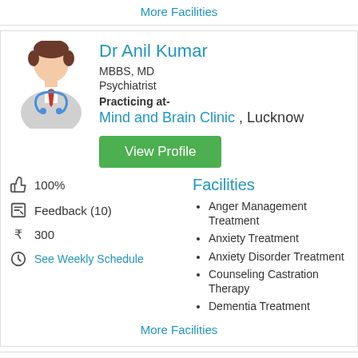More Facilities
Dr Anil Kumar
MBBS, MD
Psychiatrist
Practicing at-
Mind and Brain Clinic , Lucknow
View Profile
100%
Feedback (10)
300
See Weekly Schedule
Facilities
Anger Management Treatment
Anxiety Treatment
Anxiety Disorder Treatment
Counseling Castration Therapy
Dementia Treatment
More Facilities
Dr Malay Kant Singh